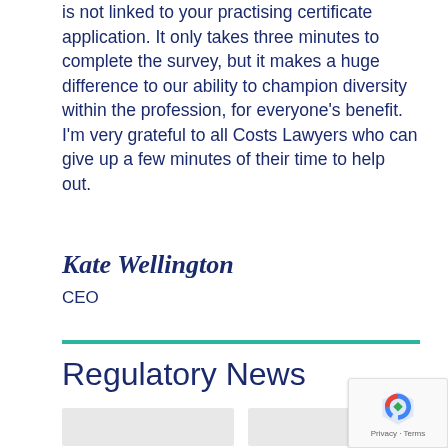is not linked to your practising certificate application. It only takes three minutes to complete the survey, but it makes a huge difference to our ability to champion diversity within the profession, for everyone's benefit. I'm very grateful to all Costs Lawyers who can give up a few minutes of their time to help out.
Kate Wellington
CEO
Regulatory News